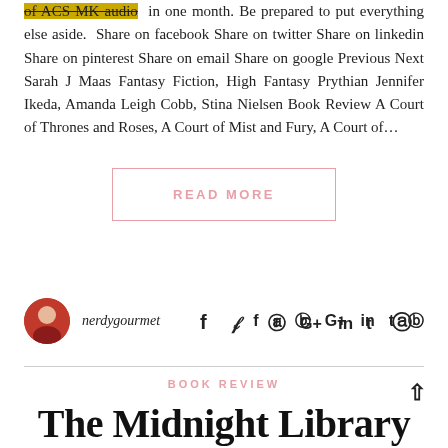of ACS MK audio in one month. Be prepared to put everything else aside.  Share on facebook Share on twitter Share on linkedin Share on pinterest Share on email Share on google Previous Next Sarah J Maas Fantasy Fiction, High Fantasy Prythian Jennifer Ikeda, Amanda Leigh Cobb, Stina Nielsen Book Review A Court of Thrones and Roses, A Court of Mist and Fury, A Court of...
READ MORE
nerdygourmet
BOOK REVIEW
The Midnight Library